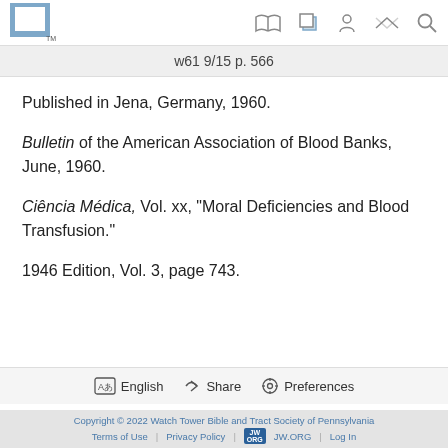w61 9/15 p. 566
Published in Jena, Germany, 1960.
Bulletin of the American Association of Blood Banks, June, 1960.
Ciência Médica, Vol. xx, "Moral Deficiencies and Blood Transfusion."
1946 Edition, Vol. 3, page 743.
English  Share  Preferences
Copyright © 2022 Watch Tower Bible and Tract Society of Pennsylvania
Terms of Use | Privacy Policy | JW.ORG | Log In